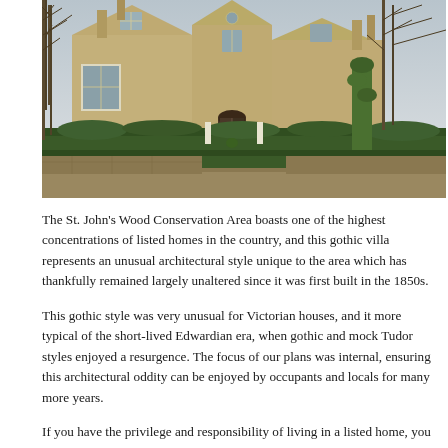[Figure (photo): Exterior photograph of a Gothic-style stone villa in St. John's Wood Conservation Area, showing pointed gables, white-framed windows, a large neatly trimmed hedge along the front, a white gate entrance, and bare trees on either side, taken in early spring.]
The St. John's Wood Conservation Area boasts one of the highest concentrations of listed homes in the country, and this gothic villa represents an unusual architectural style unique to the area which has thankfully remained largely unaltered since it was first built in the 1850s.
This gothic style was very unusual for Victorian houses, and it more typical of the short-lived Edwardian era, when gothic and mock Tudor styles enjoyed a resurgence. The focus of our plans was internal, ensuring this architectural oddity can be enjoyed by occupants and locals for many more years.
If you have the privilege and responsibility of living in a listed home, you